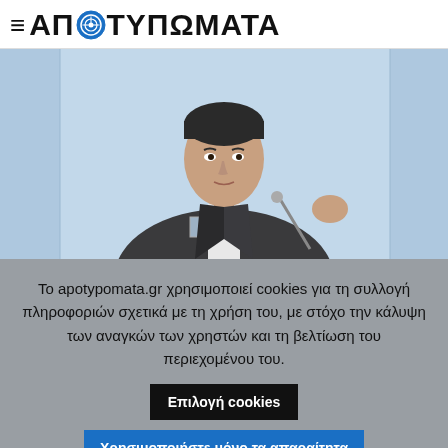≡ ΑΠΟΤΥΠΩΜΑΤΑ
[Figure (photo): A man in a dark suit and tie speaking at a podium with a microphone, light blue background]
Το apotypomata.gr χρησιμοποιεί cookies για τη συλλογή πληροφοριών σχετικά με τη χρήση του, με στόχο την κάλυψη των αναγκών των χρηστών και τη βελτίωση του περιεχομένου του.
Επιλογή cookies | Χρησιμοποιήστε μόνο τα απαραίτητα | Αποδοχή όλων